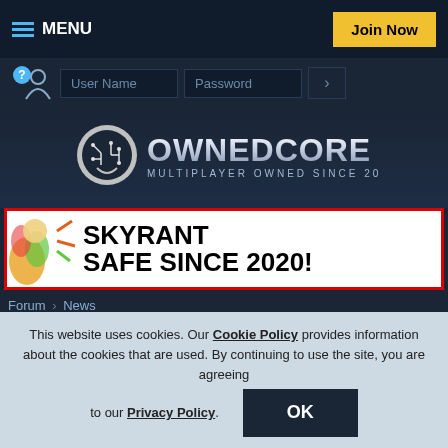MENU | Join Now
[Figure (screenshot): Login bar with User Name and Password fields and arrow button]
[Figure (logo): OwnedCore logo - MULTIPLAYER OWNED SINCE 2006]
[Figure (infographic): SKYRANT SAFE SINCE 2020! advertisement banner with red border]
Forum > News
If this is your first visit, be sure to check out the FAQ. You have to register before you can post. Almost all ads disappear when you login.
This website uses cookies. Our Cookie Policy provides information about the cookies that are used. By continuing to use the site, you are agreeing to our Privacy Policy.
OK